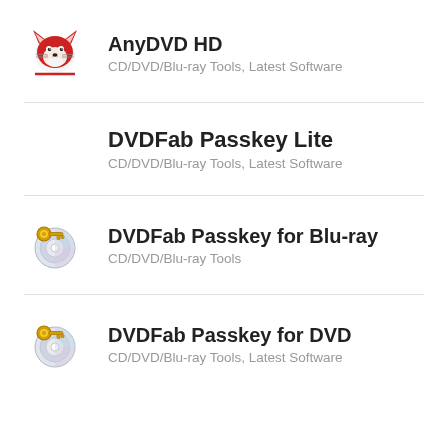[Figure (logo): AnyDVD HD fox logo icon - red fox head cartoon]
AnyDVD HD
CD/DVD/Blu-ray Tools, Latest Software
DVDFab Passkey Lite
CD/DVD/Blu-ray Tools, Latest Software
[Figure (logo): DVDFab Passkey for Blu-ray icon - disc with key]
DVDFab Passkey for Blu-ray
CD/DVD/Blu-ray Tools
[Figure (logo): DVDFab Passkey for DVD icon - disc with key]
DVDFab Passkey for DVD
CD/DVD/Blu-ray Tools, Latest Software